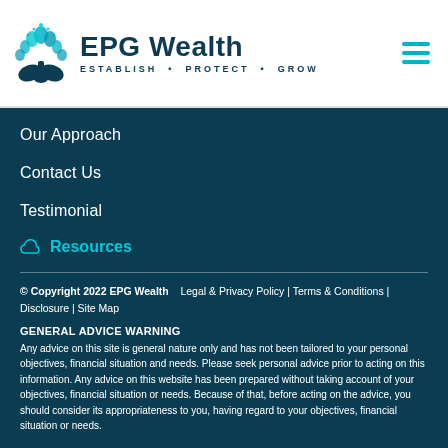EPG Wealth ESTABLISH · PROTECT · GROW
Our Approach
Contact Us
Testimonial
Resources
© Copyright 2022 EPG Wealth    Legal & Privacy Policy | Terms & Conditions | Disclosure | Site Map
GENERAL ADVICE WARNING
Any advice on this site is general nature only and has not been tailored to your personal objectives, financial situation and needs. Please seek personal advice prior to acting on this information. Any advice on this website has been prepared without taking account of your objectives, financial situation or needs. Because of that, before acting on the advice, you should consider its appropriateness to you, having regard to your objectives, financial situation or needs.